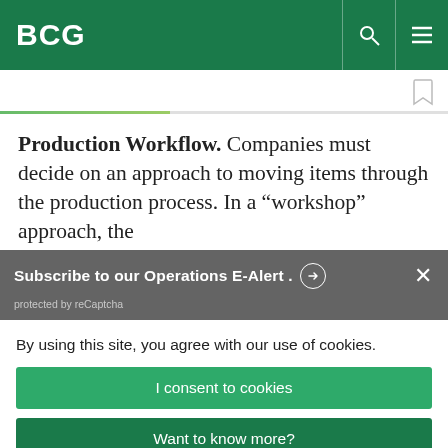BCG
Production Workflow. Companies must decide on an approach to moving items through the production process. In a “workshop” approach, the
Subscribe to our Operations E-Alert.
protected by reCaptcha
By using this site, you agree with our use of cookies.
I consent to cookies
Want to know more?
Read our Cookie Policy